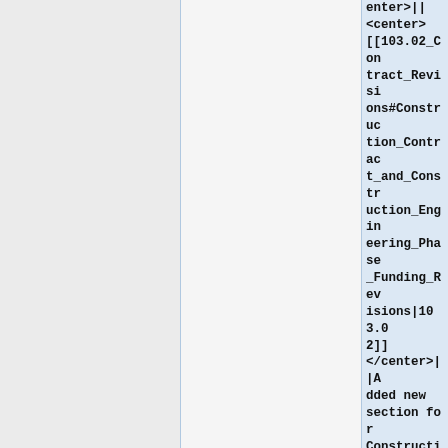|  |  | enter>||<center>[[103.02_Contract_Revisions#Construction_Contract_and_Construction_Engineering_Phase_Funding_Revisions|103.02]]</center>||Added new section for Construction Contract and Construction Engineering Phase Funding Revisions as |